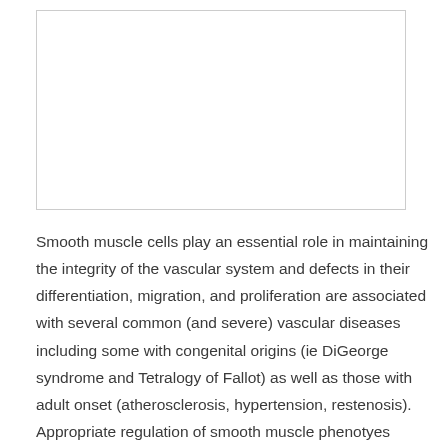[Figure (other): Empty white box with light gray border, likely a figure placeholder]
Smooth muscle cells play an essential role in maintaining the integrity of the vascular system and defects in their differentiation, migration, and proliferation are associated with several common (and severe) vascular diseases including some with congenital origins (ie DiGeorge syndrome and Tetralogy of Fallot) as well as those with adult onset (atherosclerosis, hypertension, restenosis). Appropriate regulation of smooth muscle phenotyes requires the assimilation of a variety of extracellular cues induced by growth factors, contractile agonists, cytokines,